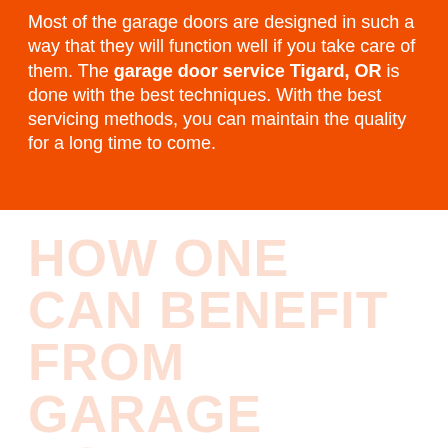Most of the garage doors are designed in such a way that they will function well if you take care of them. The garage door service Tigard, OR is done with the best techniques. With the best servicing methods, you can maintain the quality for a long time to come.
HOW ONE CAN BENEFIT FROM GARAGE ROLLER DOOR REPLACEMENT
...